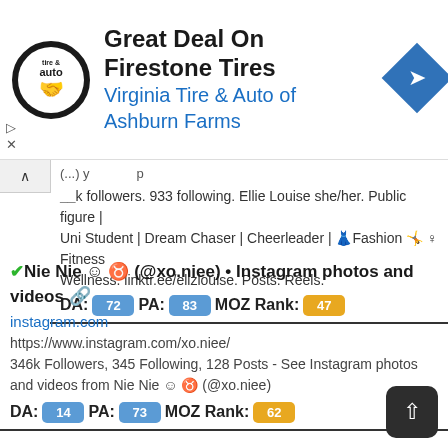[Figure (screenshot): Advertisement banner for Virginia Tire & Auto of Ashburn Farms with logo, title 'Great Deal On Firestone Tires', and navigation icon]
...k followers. 933 following. Ellie Louise she/her. Public figure | Uni Student | Dream Chaser | Cheerleader | Fashion Fitness Wellness. linktr.ee/ellzlouise. Posts. Reels.
DA: 72  PA: 83  MOZ Rank: 47
Nie Nie ☺ ♉ (@xo.niee) • Instagram photos and videos
instagram.com
https://www.instagram.com/xo.niee/
346k Followers, 345 Following, 128 Posts - See Instagram photos and videos from Nie Nie ☺ ♉ (@xo.niee)
DA: 14  PA: 73  MOZ Rank: 62
✔인스타그램 - 인스타그램 계정 로그 인 하 기, 인스타그램 프로필 사진 저장하기